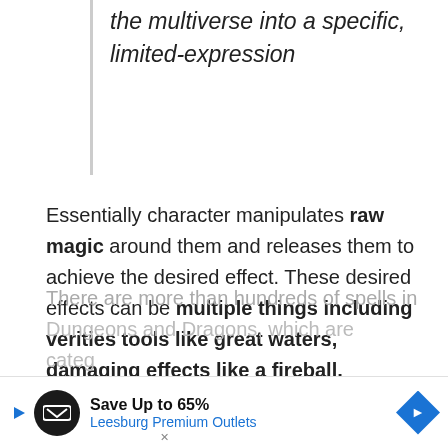the multiverse into a specific, limited-expression
Essentially character manipulates raw magic around them and releases them to achieve the desired effect. These desired effects can be multiple things including verities tools like great waters, damaging effects like a fireball, protective wards like a shield, and many more. There are more than hundreds of spells in Dungeons and Dragons, which are categ…
[Figure (other): Advertisement banner: Save Up to 65% - Leesburg Premium Outlets with logo and navigation icon]